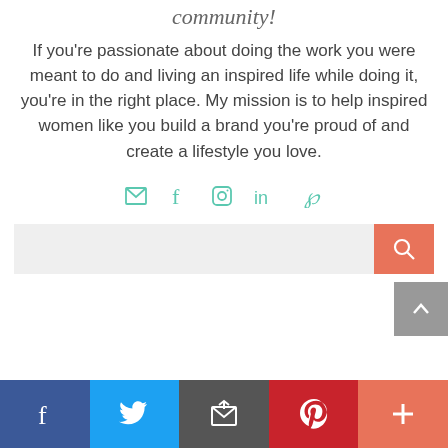community!
If you're passionate about doing the work you were meant to do and living an inspired life while doing it, you're in the right place. My mission is to help inspired women like you build a brand you're proud of and create a lifestyle you love.
[Figure (other): Social media icon links: email envelope, Facebook f, Instagram circle, LinkedIn in, Pinterest P — all in teal/mint color]
[Figure (other): Gray scroll-to-top button with white upward chevron arrow, positioned at right edge]
[Figure (other): Search bar with light gray input field and salmon/orange search button with magnifying glass icon]
[Figure (other): Bottom social share bar with 5 segments: Facebook (blue), Twitter (light blue), Email/share (dark gray), Pinterest (red), Plus/more (salmon-orange), each with white icon]